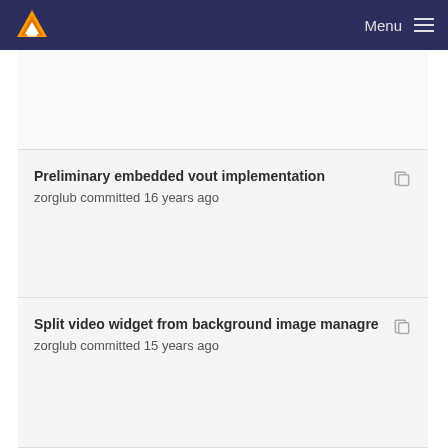Menu
Preliminary embedded vout implementation
zorglub committed 16 years ago
Split video widget from background image managre
zorglub committed 15 years ago